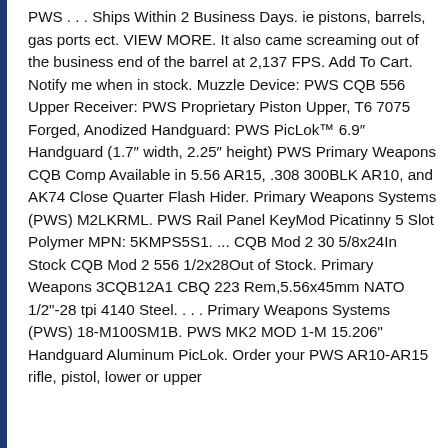PWS . . . Ships Within 2 Business Days. ie pistons, barrels, gas ports ect. VIEW MORE. It also came screaming out of the business end of the barrel at 2,137 FPS. Add To Cart. Notify me when in stock. Muzzle Device: PWS CQB 556 Upper Receiver: PWS Proprietary Piston Upper, T6 7075 Forged, Anodized Handguard: PWS PicLok™ 6.9″ Handguard (1.7″ width, 2.25″ height) PWS Primary Weapons CQB Comp Available in 5.56 AR15, .308 300BLK AR10, and AK74 Close Quarter Flash Hider. Primary Weapons Systems (PWS) M2LKRML. PWS Rail Panel KeyMod Picatinny 5 Slot Polymer MPN: 5KMPS5S1. ... CQB Mod 2 30 5/8x24In Stock CQB Mod 2 556 1/2x28Out of Stock. Primary Weapons 3CQB12A1 CBQ 223 Rem,5.56x45mm NATO 1/2"-28 tpi 4140 Steel. . . . Primary Weapons Systems (PWS) 18-M100SM1B. PWS MK2 MOD 1-M 15.206" Handguard Aluminum PicLok. Order your PWS AR10-AR15 rifle, pistol, lower or upper